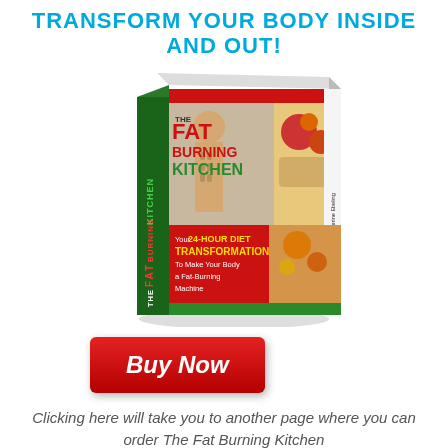TRANSFORM YOUR BODY INSIDE AND OUT!
[Figure (illustration): 3D book cover of 'The Fat Burning Kitchen' by Mike Geary & Catherine Ebeling. Cover shows a man with abs, food images, and text: 'Your 24-HOUR DIET TRANSFORMATION To Make Your Body a Fat-Burning Machine']
[Figure (other): Red 'Buy Now' button]
Clicking here will take you to another page where you can order The Fat Burning Kitchen